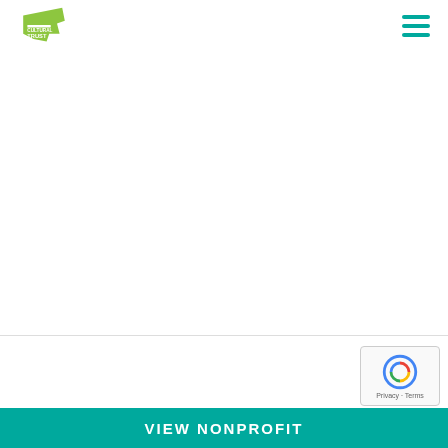Oregon Cultural Trust logo and navigation
[Figure (illustration): Gray placeholder image icon showing stacked photographs with mountain/landscape silhouette graphic]
SHERWOOD HISTORICAL SOCIETY
...
VIEW NONPROFIT